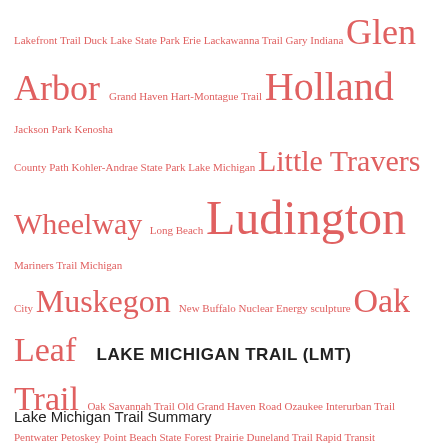[Figure (infographic): Word cloud of Lake Michigan Trail related locations and landmarks, displayed in varying font sizes in salmon/red color. Larger words include Glen, Arbor, Holland, Little Travers, Wheelway, Ludington, Muskegon, Oak Leaf Trail, St. Joseph, The Bean, Three Sisters. Smaller words include various trail names, parks, and cities along Lake Michigan.]
LAKE MICHIGAN TRAIL (LMT)
Lake Michigan Trail Summary